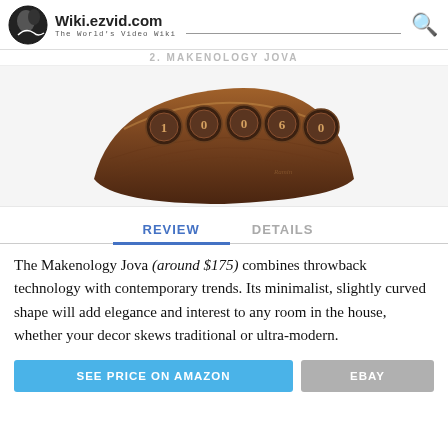Wiki.ezvid.com The World's Video Wiki
2. MAKENOLOGY JOVA
[Figure (photo): Photo of the Makenology Jova clock — a curved wooden base with dark-bronze numbered dial wheels showing a time reading, on a white background.]
REVIEW   DETAILS
The Makenology Jova (around $175) combines throwback technology with contemporary trends. Its minimalist, slightly curved shape will add elegance and interest to any room in the house, whether your decor skews traditional or ultra-modern.
SEE PRICE ON AMAZON   EBAY